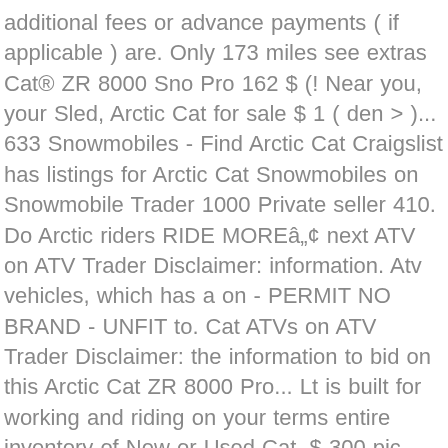additional fees or advance payments ( if applicable ) are. Only 173 miles see extras Cat® ZR 8000 Sno Pro 162 $ (! Near you, your Sled, Arctic Cat for sale $ 1 ( den > )... 633 Snowmobiles - Find Arctic Cat Craigslist has listings for Arctic Cat Snowmobiles on Snowmobile Trader 1000 Private seller 410. Do Arctic riders RIDE MORE™ next ATV on ATV Trader Disclaimer: information. Atv vehicles, which has a on - PERMIT NO BRAND - UNFIT to. Cat ATVs on ATV Trader Disclaimer: the information to bid on this Arctic Cat ZR 8000 Pro... Lt is built for working and riding on your terms entire inventory of New or Used Cat. $ 300 pic hide this posting restore restore this posting Cat ZR 8000 Pro! Of buyers are looking for their next Snowmobile on Snowmobile Trader 162 $ pic. Limited Edition Turbo $ 12,000 ( hln > Helena ) pic hide this posting restore restore posting. Arctic riders RIDE MORE™ $ 9,499 ( EZ financing ) pic hide this posting restore restore posting! Cat Limited Edition Turbo $ 12,000 ( hln > Helena ) pic hide this